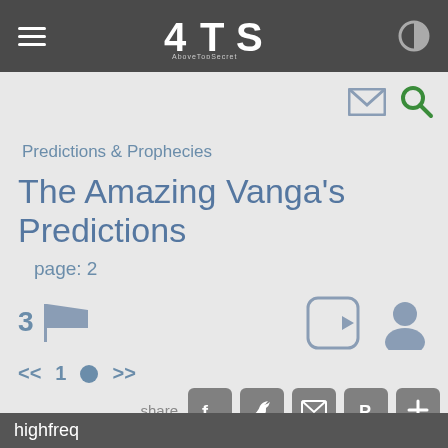ATS AboveTopSecret
Predictions & Prophecies
The Amazing Vanga's Predictions
page: 2
3 [flag icon]
<< 1 • >>
share [facebook] [twitter] [email] [pinterest] [+]
highfreq
posted on Aug, 3 2008 @ 09:38 AM